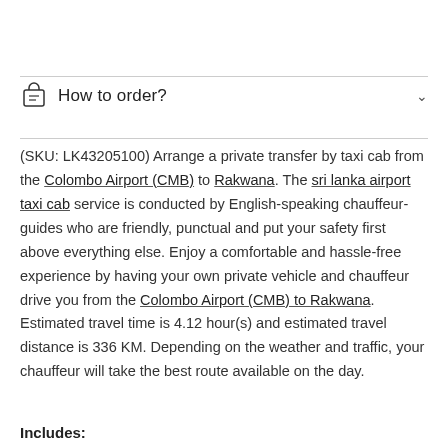How to order?
(SKU: LK43205100) Arrange a private transfer by taxi cab from the Colombo Airport (CMB) to Rakwana. The sri lanka airport taxi cab service is conducted by English-speaking chauffeur-guides who are friendly, punctual and put your safety first above everything else. Enjoy a comfortable and hassle-free experience by having your own private vehicle and chauffeur drive you from the Colombo Airport (CMB) to Rakwana. Estimated travel time is 4.12 hour(s) and estimated travel distance is 336 KM. Depending on the weather and traffic, your chauffeur will take the best route available on the day.
Includes: